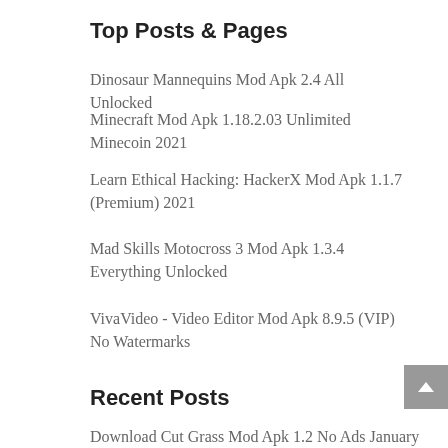Top Posts & Pages
Dinosaur Mannequins Mod Apk 2.4 All Unlocked
Minecraft Mod Apk 1.18.2.03 Unlimited Minecoin 2021
Learn Ethical Hacking: HackerX Mod Apk 1.1.7 (Premium) 2021
Mad Skills Motocross 3 Mod Apk 1.3.4 Everything Unlocked
VivaVideo - Video Editor Mod Apk 8.9.5 (VIP) No Watermarks
Recent Posts
Download Cut Grass Mod Apk 1.2 No Ads January 5, 2022
Law Empire Tycoon Mod Apk 2.0.4 Unlimited Money & Gems July 12, 2021